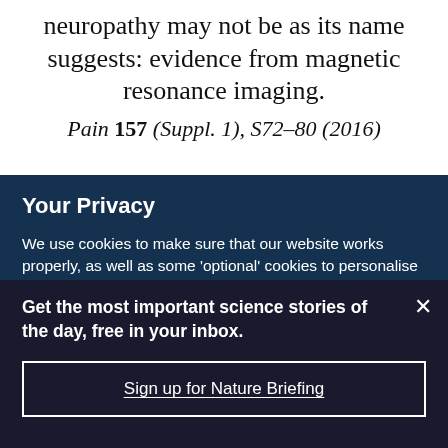neuropathy may not be as its name suggests: evidence from magnetic resonance imaging.
Pain 157 (Suppl. 1), S72–80 (2016)
Your Privacy
We use cookies to make sure that our website works properly, as well as some 'optional' cookies to personalise content and advertising, provide social media features and analyse how people use our site. By accepting some or all optional cookies you give consent to the processing of your personal data, including transfer to third parties, some in countries outside of the European Economic Area that do not offer the same data protection standards as the country where you live. You can decide which optional cookies to accept by clicking on 'Manage Settings', where you can
Get the most important science stories of the day, free in your inbox.
Sign up for Nature Briefing